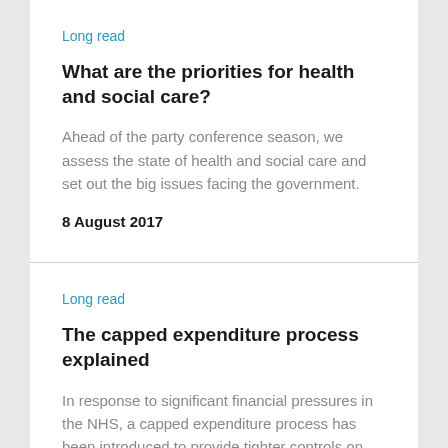Long read
What are the priorities for health and social care?
Ahead of the party conference season, we assess the state of health and social care and set out the big issues facing the government.
8 August 2017
Long read
The capped expenditure process explained
In response to significant financial pressures in the NHS, a capped expenditure process has been introduced to provide tighter controls on spending. We explain how the process works and what it involves.